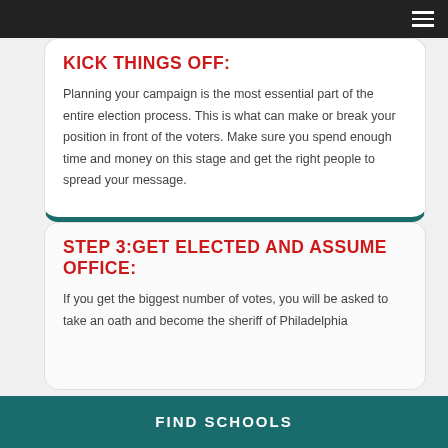KICK THINGS OFF:
Planning your campaign is the most essential part of the entire election process. This is what can make or break your position in front of the voters. Make sure you spend enough time and money on this stage and get the right people to spread your message.
STEP 3:GET ELECTED AND ASSUME OFFICE:
If you get the biggest number of votes, you will be asked to take an oath and become the sheriff of Philadelphia
FIND SCHOOLS